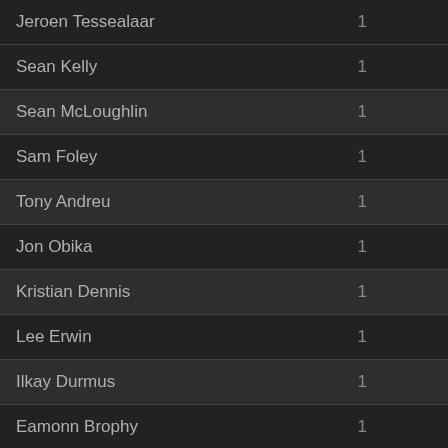| Player | Goals |
| --- | --- |
| Jeroen Tessealaar | 1 |
| Sean Kelly | 1 |
| Sean McLoughlin | 1 |
| Sam Foley | 1 |
| Tony Andreu | 1 |
| Jon Obika | 1 |
| Kristian Dennis | 1 |
| Lee Erwin | 1 |
| Ilkay Durmus | 1 |
| Eamonn Brophy | 1 |
| Scott Tanser | 1 |